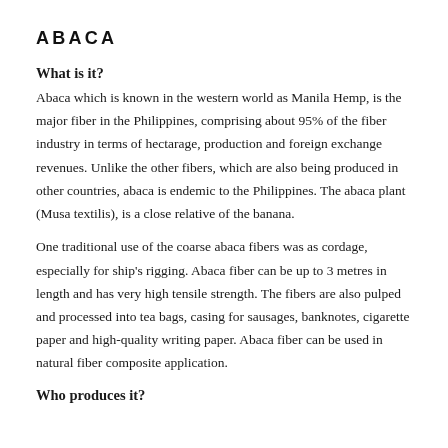ABACA
What is it?
Abaca which is known in the western world as Manila Hemp, is the major fiber in the Philippines, comprising about 95% of the fiber industry in terms of hectarage, production and foreign exchange revenues. Unlike the other fibers, which are also being produced in other countries, abaca is endemic to the Philippines. The abaca plant (Musa textilis), is a close relative of the banana.
One traditional use of the coarse abaca fibers was as cordage, especially for ship's rigging. Abaca fiber can be up to 3 metres in length and has very high tensile strength. The fibers are also pulped and processed into tea bags, casing for sausages, banknotes, cigarette paper and high-quality writing paper. Abaca fiber can be used in natural fiber composite application.
Who produces it?